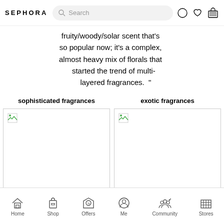SEPHORA
fruity/woody/solar scent that's so popular now; it's a complex, almost heavy mix of florals that started the trend of multi-layered fragrances.  "
sophisticated fragrances
[Figure (photo): Placeholder image for sophisticated fragrances product]
exotic fragrances
[Figure (photo): Placeholder image for exotic fragrances product]
Home  Shop  Offers  Me  Community  Stores